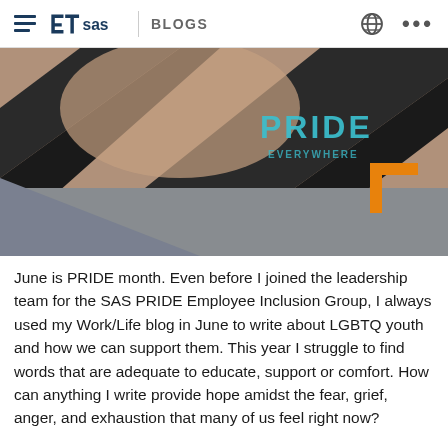SAS BLOGS
[Figure (photo): Close-up photo of a person wearing a black ribbon/sash against a skin-toned background, with 'PRIDE' text in teal and an orange SAS logo mark in the lower right corner.]
June is PRIDE month. Even before I joined the leadership team for the SAS PRIDE Employee Inclusion Group, I always used my Work/Life blog in June to write about LGBTQ youth and how we can support them. This year I struggle to find words that are adequate to educate, support or comfort. How can anything I write provide hope amidst the fear, grief, anger, and exhaustion that many of us feel right now?